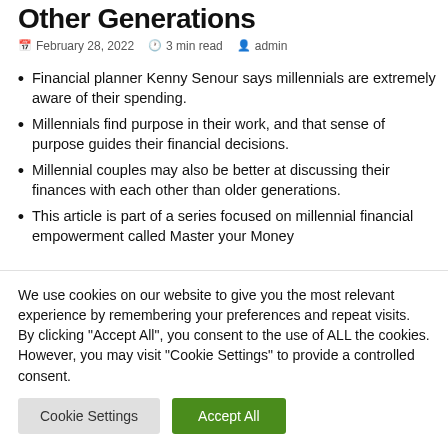Other Generations
February 28, 2022  3 min read  admin
Financial planner Kenny Senour says millennials are extremely aware of their spending.
Millennials find purpose in their work, and that sense of purpose guides their financial decisions.
Millennial couples may also be better at discussing their finances with each other than older generations.
This article is part of a series focused on millennial financial empowerment called Master your Money
We use cookies on our website to give you the most relevant experience by remembering your preferences and repeat visits. By clicking “Accept All”, you consent to the use of ALL the cookies. However, you may visit "Cookie Settings" to provide a controlled consent.